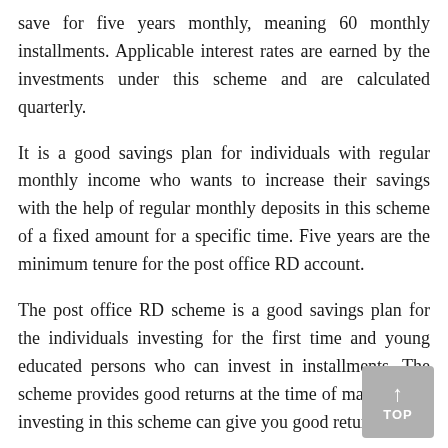save for five years monthly, meaning 60 monthly installments. Applicable interest rates are earned by the investments under this scheme and are calculated quarterly.
It is a good savings plan for individuals with regular monthly income who wants to increase their savings with the help of regular monthly deposits in this scheme of a fixed amount for a specific time. Five years are the minimum tenure for the post office RD account.
The post office RD scheme is a good savings plan for the individuals investing for the first time and young educated persons who can invest in installments. The scheme provides good returns at the time of maturity. So investing in this scheme can give you good returns.
Post Office Time Deposit Account